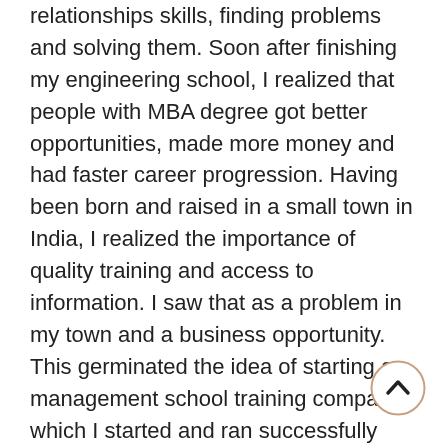relationships skills, finding problems and solving them. Soon after finishing my engineering school, I realized that people with MBA degree got better opportunities, made more money and had faster career progression. Having been born and raised in a small town in India, I realized the importance of quality training and access to information. I saw that as a problem in my town and a business opportunity. This germinated the idea of starting a management school training company which I started and ran successfully along with my cofounders. It was not only a profitable venture but also helped prepare the first batch of students through the management school
[Figure (other): A circular scroll-to-top button with an upward chevron arrow icon, outlined circle border.]